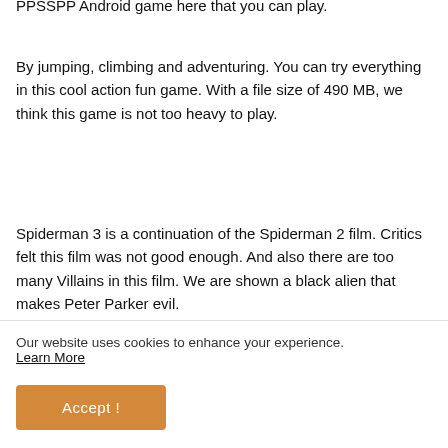PPSSPP Android game here that you can play.
By jumping, climbing and adventuring. You can try everything in this cool action fun game. With a file size of 490 MB, we think this game is not too heavy to play.
Spiderman 3 is a continuation of the Spiderman 2 film. Critics felt this film was not good enough. And also there are too many Villains in this film. We are shown a black alien that makes Peter Parker evil.
Now in 2022, Spiderman 3 is the best PPSSPP Android game that you can play next. Similar to the Spiderman
Our website uses cookies to enhance your experience. Learn More
Accept !